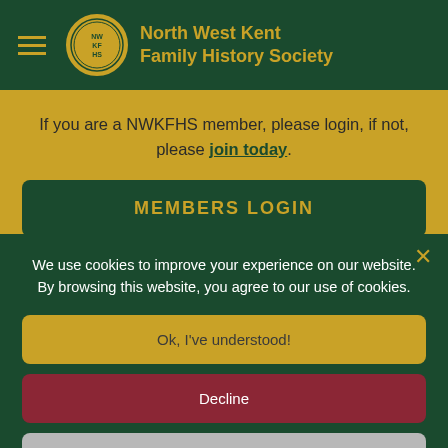[Figure (logo): North West Kent Family History Society logo with NWKFHS initials in a circular emblem]
North West Kent Family History Society
If you are a NWKFHS member, please login, if not, please join today.
MEMBERS LOGIN
We use cookies to improve your experience on our website. By browsing this website, you agree to our use of cookies.
Ok, I've understood!
Decline
More Info
1851 Census for North West